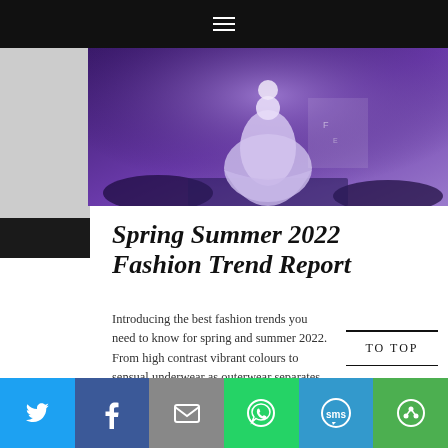≡
[Figure (photo): Fashion runway photo showing a model in a lavender gown on a purple-lit stage with audience in background]
Spring Summer 2022 Fashion Trend Report
Introducing the best fashion trends you need to know for spring and summer 2022. From high contrast vibrant colours to sensual underwear as outerwear separates, see all of the season's top trends from high fashion runways!
VIEW POST
TO TOP
[Figure (infographic): Social sharing bar with Twitter, Facebook, Email, WhatsApp, SMS, and More buttons]